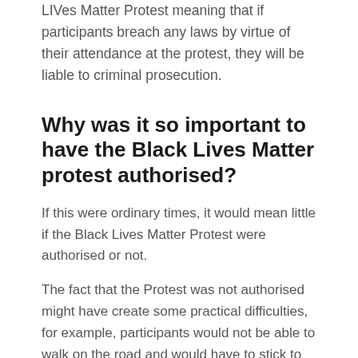LIVes Matter Protest meaning that if participants breach any laws by virtue of their attendance at the protest, they will be liable to criminal prosecution.
Why was it so important to have the Black Lives Matter protest authorised?
If this were ordinary times, it would mean little if the Black Lives Matter Protest were authorised or not.
The fact that the Protest was not authorised might have create some practical difficulties, for example, participants would not be able to walk on the road and would have to stick to the footpath instead.
However, as long as participants were not committing offences there would be nothing illegal about attending